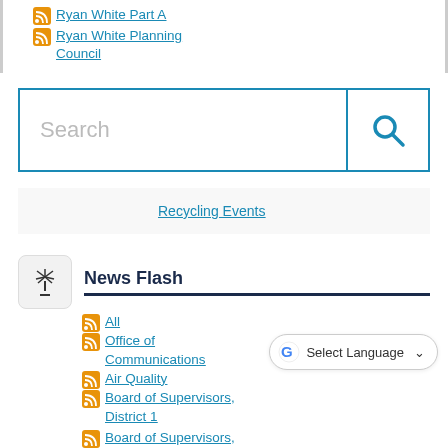Ryan White Part A
Ryan White Planning Council
[Figure (screenshot): Search box with blue border and magnifying glass icon]
Recycling Events
News Flash
All
Office of Communications
Air Quality
Board of Supervisors, District 1
Board of Supervisors, District 2
Board of Supervisors, District 3
[Figure (screenshot): Google Translate Select Language dropdown overlay]